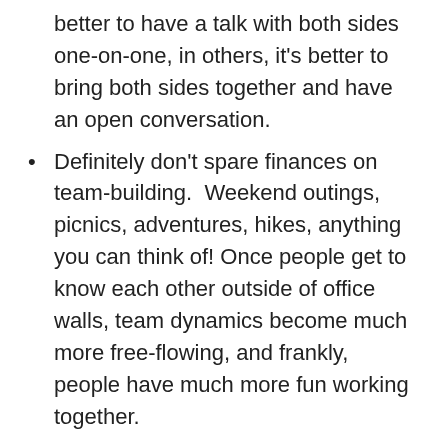better to have a talk with both sides one-on-one, in others, it’s better to bring both sides together and have an open conversation.
Definitely don’t spare finances on team-building.  Weekend outings, picnics, adventures, hikes, anything you can think of! Once people get to know each other outside of office walls, team dynamics become much more free-flowing, and frankly, people have much more fun working together.
Your team has to know what behavior is expected of them in various situations.